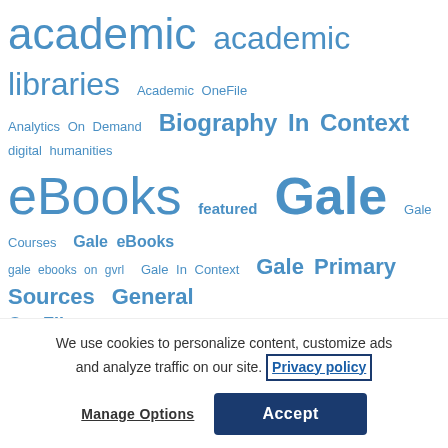[Figure (other): Tag cloud with library/education related terms in varying sizes and shades of blue. Terms include: academic, academic libraries, Academic OneFile, Analytics On Demand, Biography In Context, digital humanities, eBooks, featured, Gale, Gale Courses, Gale eBooks, gale ebooks on gvrl, Gale In Context, Gale Primary Sources, General OneFile, Global Issues in Context, Google, GVRL, gvrl ebooks, Health Reference Center Academic, history, In Context, infotrac, K12, Kids InfoBits, large print, LGBTQ, libraries, library, My Library Story, Opposing Viewpoints in Context, primary sources, Product Review, product update, Product updates, public]
We use cookies to personalize content, customize ads and analyze traffic on our site. Privacy policy
Manage Options   Accept